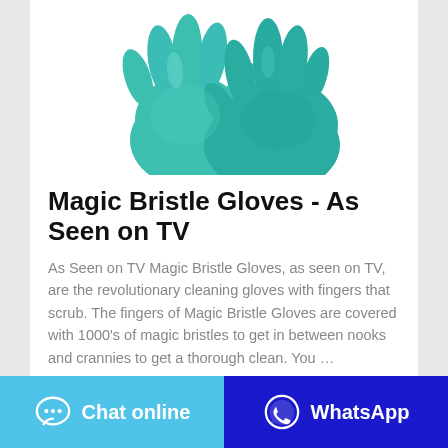[Figure (photo): Two teal/turquoise rubber cleaning gloves with fingers interlocked, shown on a white background, cropped at top]
Magic Bristle Gloves - As Seen on TV
As Seen on TV Magic Bristle Gloves, as seen on TV, are the revolutionary cleaning gloves with fingers that scrub. The fingers of Magic Bristle Gloves are covered with 1000's of magic bristles to get in between nooks and crannies to get a thorough clean. You …